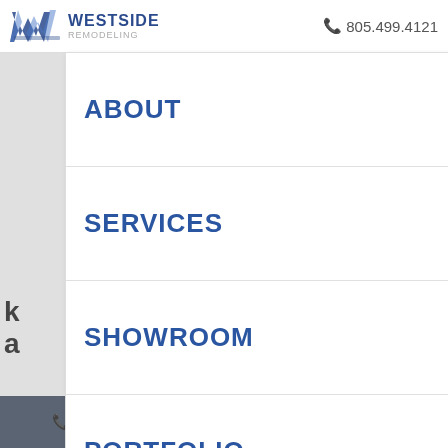WESTSIDE REMODELING — 805.499.4121
ABOUT
SERVICES
SHOWROOM
PORTFOLIO
EVENTS & SEMINARS
CONTACT
805.499.4121
805-499-4121   Request Service